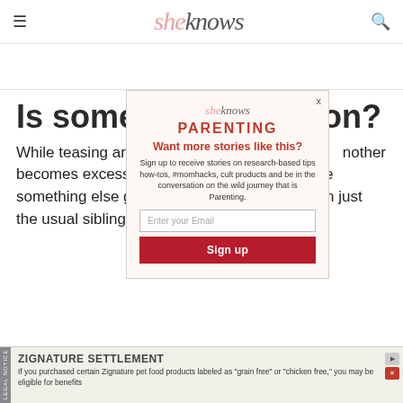sheknows
Is something going on?
While teasing among siblings is common, sometimes teasing one another becomes excessive. In this case, there may be something else going on – it may be more than just the usual sibling stuff.
[Figure (screenshot): Popup modal for SheKnows Parenting newsletter signup with email input and Sign up button]
[Figure (screenshot): Ad banner for Zignature Settlement legal notice]